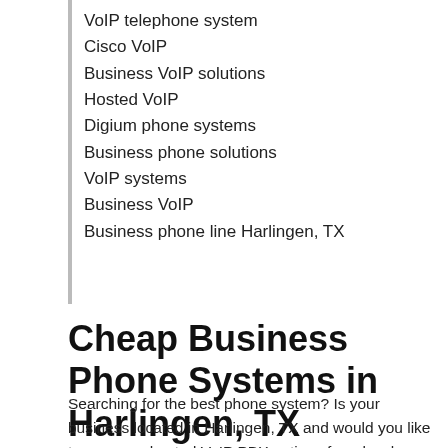VoIP telephone system
Cisco VoIP
Business VoIP solutions
Hosted VoIP
Digium phone systems
Business phone solutions
VoIP systems
Business VoIP
Business phone line Harlingen, TX
Cheap Business Phone Systems in Harlingen, TX
Searching for the best phone system? Is your business located in Harlingen, TX and would you like to compare hosted VoIP PBX options from local providers? Would you like to compare multiple hosted VoIP PBX quotes from PBX